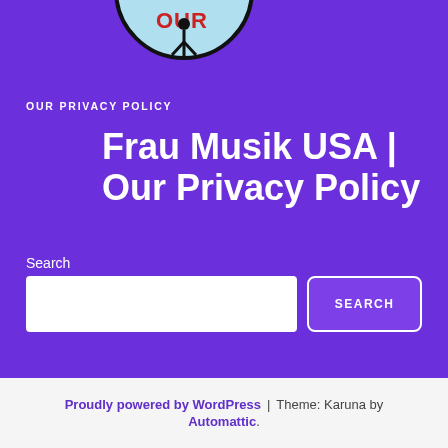[Figure (logo): Circular logo partially visible at top showing 'OUR' text in red and a figure, on a light blue background with black border]
OUR PRIVACY POLICY
Frau Musik USA | Our Privacy Policy
Search
[Figure (other): Search input field (white rectangle) and SEARCH button (white-bordered, purple background)]
Proudly powered by WordPress | Theme: Karuna by Automattic.